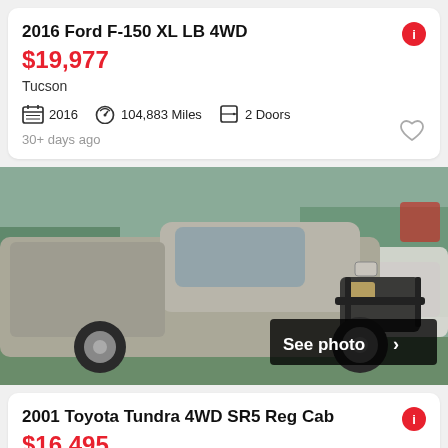2016 Ford F-150 XL LB 4WD
$19,977
Tucson
2016  104,883 Miles  2 Doors
30+ days ago
[Figure (photo): Silver/gray pickup truck (Toyota Tundra) parked in a lot, with a bull bar on the front. A white SUV is partially visible in the background. Green grass and trees visible. A 'See photo >' button overlay appears in the lower right.]
2001 Toyota Tundra 4WD SR5 Reg Cab
$16,495
San Antonio